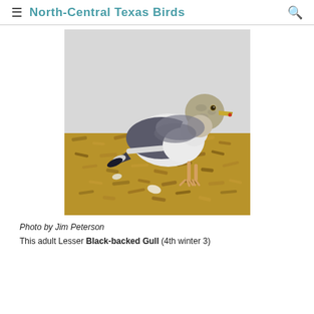North-Central Texas Birds
[Figure (photo): A large gull (Lesser Black-backed Gull, 4th winter) standing on sandy/gravelly ground with wood chips or debris. The bird has a gray-brown mottled head, dark slate-gray wings and back, white underparts, and a yellowish bill with a red spot. The background is a light gray/white wall.]
Photo by Jim Peterson
This adult Lesser Black-backed Gull (4th winter 3)